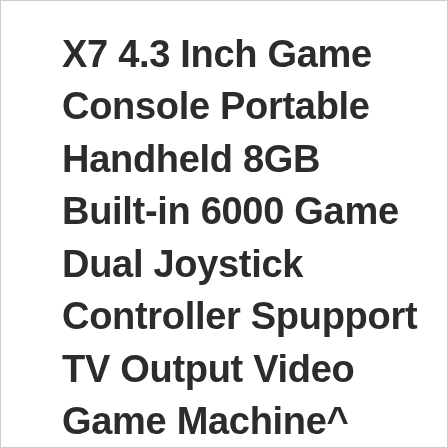X7 4.3 Inch Game Console Portable Handheld 8GB Built-in 6000 Game Dual Joystick Controller Spupport TV Output Video Game Machine^